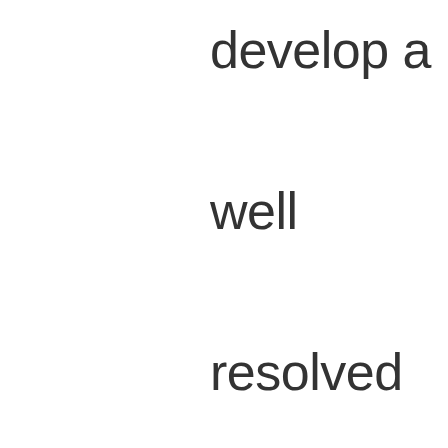develop a well resolved design proposal that